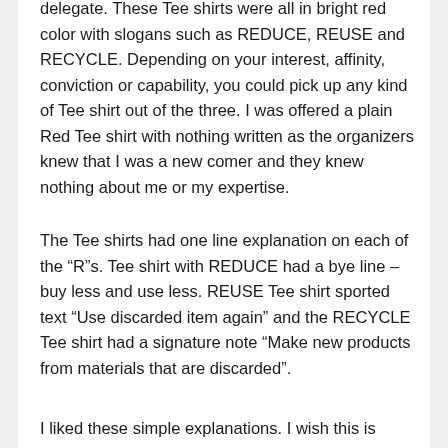delegate. These Tee shirts were all in bright red color with slogans such as REDUCE, REUSE and RECYCLE. Depending on your interest, affinity, conviction or capability, you could pick up any kind of Tee shirt out of the three. I was offered a plain Red Tee shirt with nothing written as the organizers knew that I was a new comer and they knew nothing about me or my expertise.
The Tee shirts had one line explanation on each of the “R”s. Tee shirt with REDUCE had a bye line – buy less and use less. REUSE Tee shirt sported text “Use discarded item again” and the RECYCLE Tee shirt had a signature note “Make new products from materials that are discarded”.
I liked these simple explanations. I wish this is